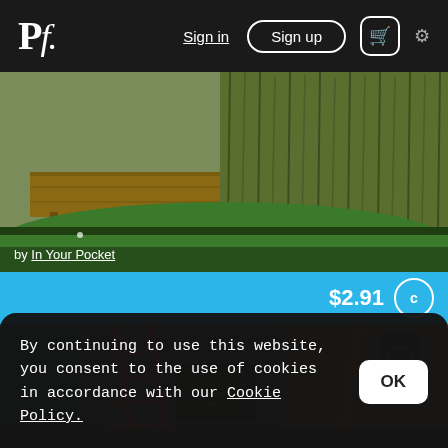Pf. | Sign in | Sign up | cart | settings
[Figure (photo): Outdoor garden scene with green artificial grass putting green, wooden deck platform, and tall ornamental grasses in the background. Attribution: by In Your Pocket]
$2.91 c
[Figure (photo): Interior scene of what appears to a vintage bar or shop with red ladder, decorative sign, and warm ambient lighting]
By continuing to use this website, you consent to the use of cookies in accordance with our Cookie Policy.
OK